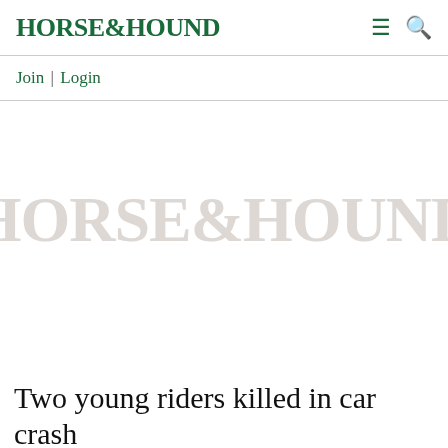HORSE&HOUND
Join | Login
[Figure (logo): Large watermark of HORSE&HOUND logo in light gray/beige across the center of the page]
Two young riders killed in car crash